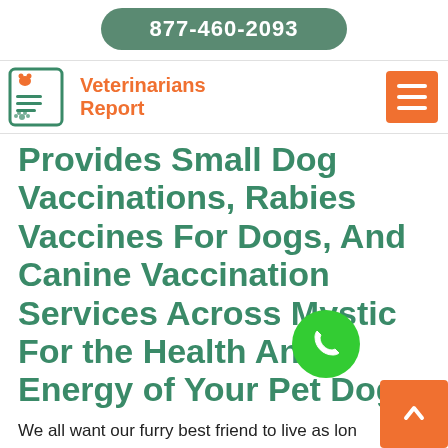877-460-2093
[Figure (logo): Veterinarians Report logo with pet and document icon]
Provides Small Dog Vaccinations, Rabies Vaccines For Dogs, And Canine Vaccination Services Across Mystic For the Health And Energy of Your Pet Dogs.
We all want our furry best friend to live as long as possible. Getting your puppies and dogs vaccinated will help them live a long and healthy